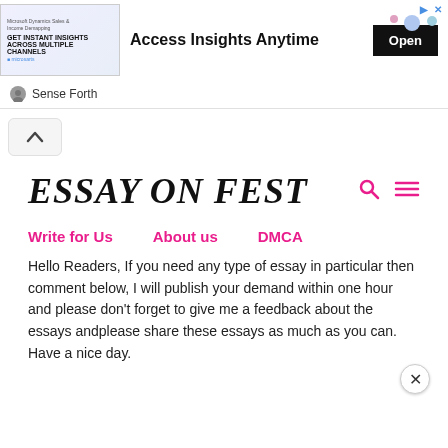[Figure (screenshot): Advertisement banner showing 'Access Insights Anytime' with an Open button and a product image on the left]
Sense Forth
[Figure (screenshot): Scroll up chevron button]
ESSAY ON FEST
Write for Us
About us
DMCA
Hello Readers, If you need any type of essay in particular then comment below, I will publish your demand within one hour and please don't forget to give me a feedback about the essays andplease share these essays as much as you can. Have a nice day.